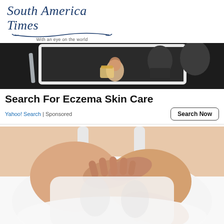South America Times – With an eye on the world
[Figure (photo): Person holding a jar/container, reflected in a mirror, dark background – top advertisement image]
Search For Eczema Skin Care
Yahoo! Search | Sponsored
Search Now
[Figure (photo): Woman in white tank top holding her chest/breast area with both hands – bottom advertisement image]